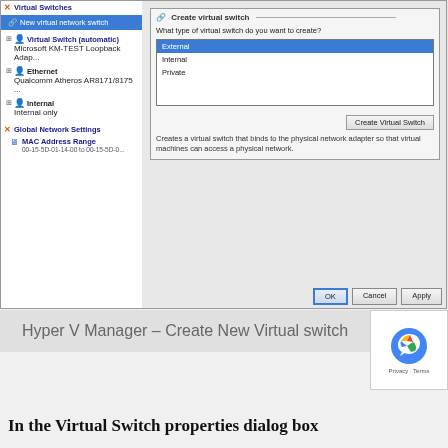[Figure (screenshot): Hyper-V Virtual Switch Manager screenshot showing left panel with Virtual Switches tree (New virtual network switch selected, Virtual Switch (automatic), Ethernet, Internal) and Global Network Settings (MAC Address Range), and right panel showing 'Create virtual switch' dialog with External/Internal/Private options, External selected, and description text.]
Hyper V Manager – Create New Virtual switch
In the Virtual Switch properties dialog box